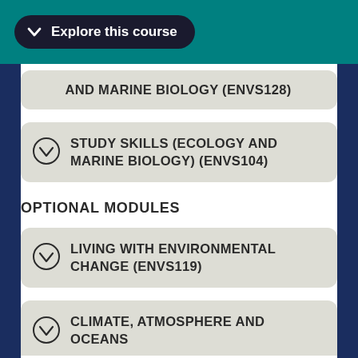Explore this course
AND MARINE BIOLOGY (ENVS128)
STUDY SKILLS (ECOLOGY AND MARINE BIOLOGY) (ENVS104)
OPTIONAL MODULES
LIVING WITH ENVIRONMENTAL CHANGE (ENVS119)
CLIMATE, ATMOSPHERE AND OCEANS